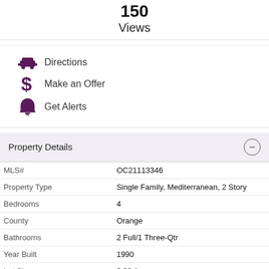Views
Directions
Make an Offer
Get Alerts
Property Details
|  |  |
| --- | --- |
| MLS# | OC21113346 |
| Property Type | Single Family, Mediterranean, 2 Story |
| Bedrooms | 4 |
| County | Orange |
| Bathrooms | 2 Full/1 Three-Qtr |
| Year Built | 1990 |
| Lot Size | 0.32 Acres |